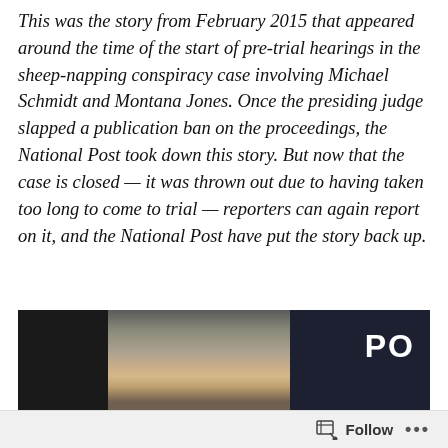This was the story from February 2015 that appeared around the time of the start of pre-trial hearings in the sheep-napping conspiracy case involving Michael Schmidt and Montana Jones. Once the presiding judge slapped a publication ban on the proceedings, the National Post took down this story. But now that the case is closed — it was thrown out due to having taken too long to come to trial — reporters can again report on it, and the National Post have put the story back up.
[Figure (photo): Photo showing a woman with blonde hair surrounded by police officers in dark uniforms, one with 'PO' visible on the uniform, against a wooden fence background.]
Follow ···